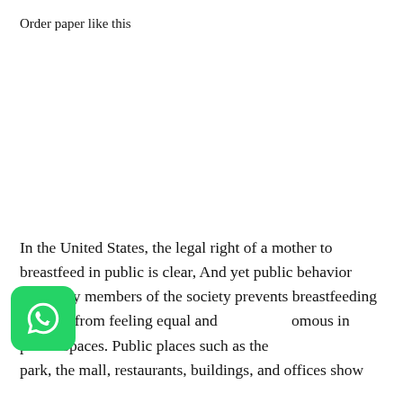Order paper like this
In the United States, the legal right of a mother to breastfeed in public is clear, And yet public behavior shared by members of the society prevents breastfeeding mothers from feeling equal and autonomous in public spaces. Public places such as the park, the mall, restaurants, buildings, and offices show